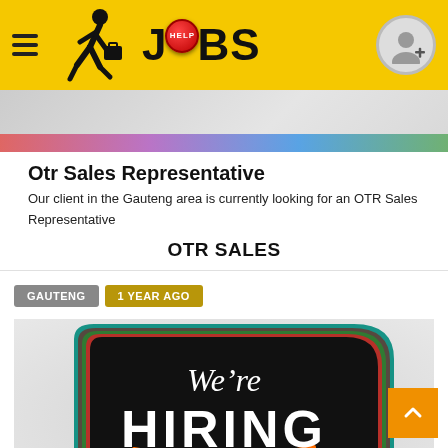HELP JOBS
[Figure (illustration): Partial job listing card image - colorful gradient strip at top]
Otr Sales Representative
Our client in the Gauteng area is currently looking for an OTR Sales Representative
OTR SALES
GAUTENG  1 YEAR AGO
[Figure (illustration): We're HIRING speech bubble graphic with colorful border on dark background]